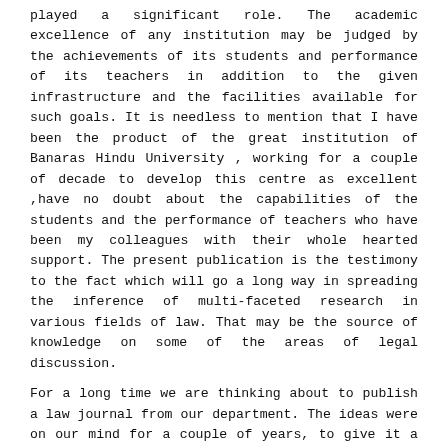played a significant role. The academic excellence of any institution may be judged by the achievements of its students and performance of its teachers in addition to the given infrastructure and the facilities available for such goals. It is needless to mention that I have been the product of the great institution of Banaras Hindu University , working for a couple of decade to develop this centre as excellent ,have no doubt about the capabilities of the students and the performance of teachers who have been my colleagues with their whole hearted support. The present publication is the testimony to the fact which will go a long way in spreading the inference of multi-faceted research in various fields of law. That may be the source of knowledge on some of the areas of legal discussion.
For a long time we are thinking about to publish a law journal from our department. The ideas were on our mind for a couple of years, to give it a present shape have been possible today. In this academic venture the moral support given by our Honourable Vice – Chancellor Prof. Arunabha Basumajumdar is commendable at the same time the journal could see the light of the day by the support of my esteemed colleagues, in particular, and the whole academic world in general. Over and above to maintain the above spirit, it is not enough, the continual research and publication is necessary. I have firm belief that I would be able to fulfil the need of the hour by your constant support.
The present issue of the journal may have some errors and I academically take responsibility for the same in the given circumstances.